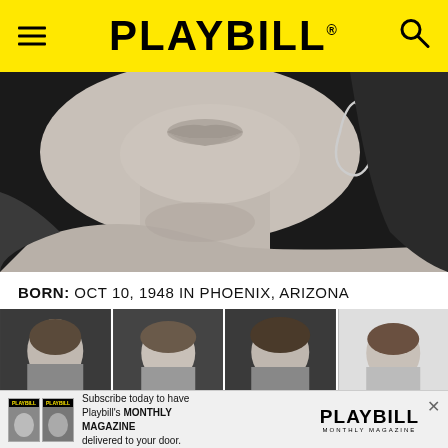PLAYBILL
[Figure (photo): Black and white close-up photo of a woman's face from nose/mouth down, showing lips, chin, neck, and a teardrop-shaped earring on the right ear.]
BORN: OCT 10, 1948 IN PHOENIX, ARIZONA
[Figure (photo): Row of four black and white headshot photographs of the same woman at different ages/times, showing various hairstyles.]
[Figure (infographic): Advertisement banner: Subscribe today to have Playbill's MONTHLY MAGAZINE delivered to your door. Features two Playbill magazine covers and the Playbill Monthly Magazine logo.]